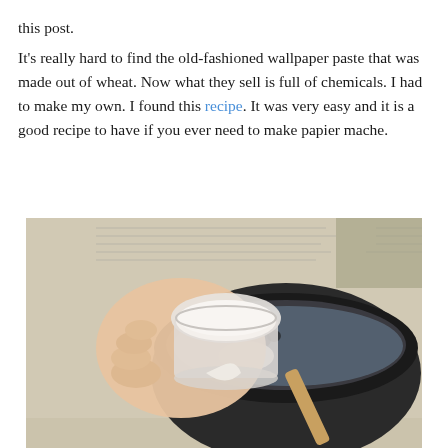this post.
It's really hard to find the old-fashioned wallpaper paste that was made out of wheat. Now what they sell is full of chemicals. I had to make my own. I found this recipe. It was very easy and it is a good recipe to have if you ever need to make papier mache.
[Figure (photo): A hand pouring white flour/powder from a measuring cup into a dark bowl, with newspaper spread on the surface in the background and a wooden spoon in the bowl.]